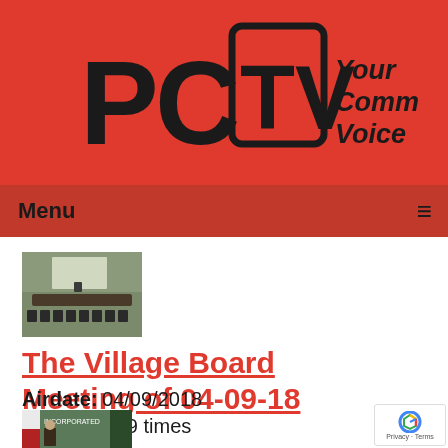[Figure (logo): PCTV logo with text 'Your Community Voice' on red background]
Menu
[Figure (photo): Thumbnail photo of a village board meeting room with chairs and a dais]
The Village Board Meeting of 04-09-18
Airdate: 04/09/2018
Watched: 19 times
[Figure (photo): Bottom partial thumbnail showing a village meeting with incorporated seal]